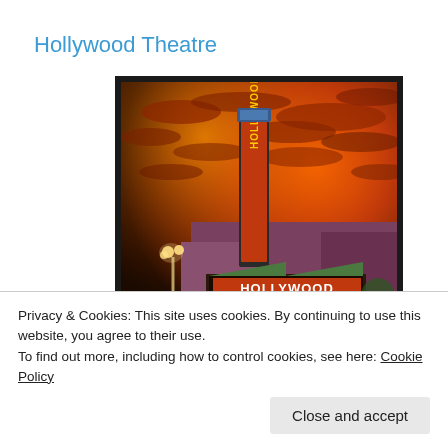Hollywood Theatre
[Figure (photo): Photograph of the Hollywood Theatre building at dusk/sunset, showing the tall vertical neon sign reading 'HOLLYWOOD' in orange/yellow letters, with the marquee below also reading 'HOLLYWOOD'. The sky is filled with dramatic orange and red clouds. Street lamps are visible on the left side.]
Privacy & Cookies: This site uses cookies. By continuing to use this website, you agree to their use.
To find out more, including how to control cookies, see here: Cookie Policy